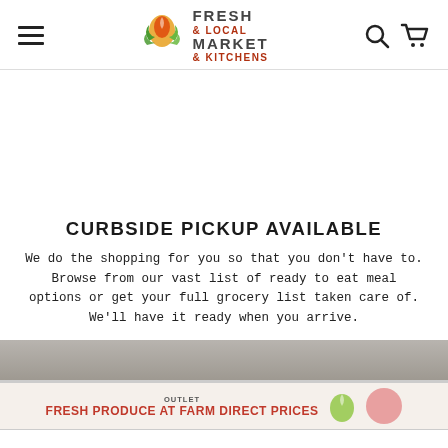Fresh & Local Market & Kitchens — navigation header with hamburger menu, logo, search and cart icons
CURBSIDE PICKUP AVAILABLE
We do the shopping for you so that you don't have to. Browse from our vast list of ready to eat meal options or get your full grocery list taken care of. We'll have it ready when you arrive.
[Figure (photo): Exterior photo of Fresh & Local Market store sign reading 'FRESH PRODUCE OUTLET — FRESH PRODUCE AT FARM DIRECT PRICES' with green leaf and pink/red circular graphic]